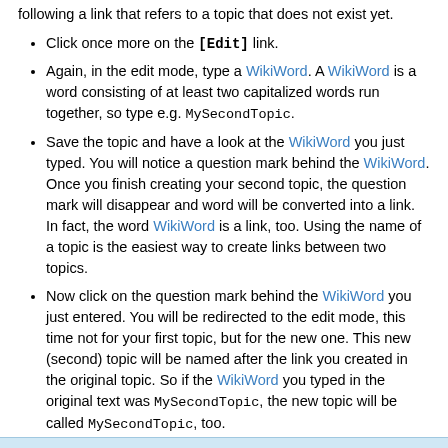following a link that refers to a topic that does not exist yet.
Click once more on the [Edit] link.
Again, in the edit mode, type a WikiWord. A WikiWord is a word consisting of at least two capitalized words run together, so type e.g. MySecondTopic.
Save the topic and have a look at the WikiWord you just typed. You will notice a question mark behind the WikiWord. Once you finish creating your second topic, the question mark will disappear and word will be converted into a link. In fact, the word WikiWord is a link, too. Using the name of a topic is the easiest way to create links between two topics.
Now click on the question mark behind the WikiWord you just entered. You will be redirected to the edit mode, this time not for your first topic, but for the new one. This new (second) topic will be named after the link you created in the original topic. So if the WikiWord you typed in the original text was MySecondTopic, the new topic will be called MySecondTopic, too.